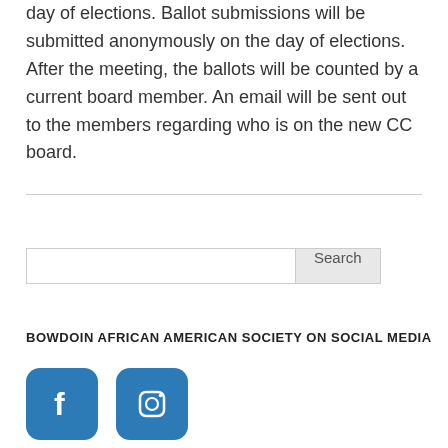day of elections. Ballot submissions will be submitted anonymously on the day of elections. After the meeting, the ballots will be counted by a current board member. An email will be sent out to the members regarding who is on the new CC board.
[Figure (other): Search bar with text input field and Search button]
BOWDOIN AFRICAN AMERICAN SOCIETY ON SOCIAL MEDIA
[Figure (other): Facebook and Instagram social media icon buttons in blue rounded square style]